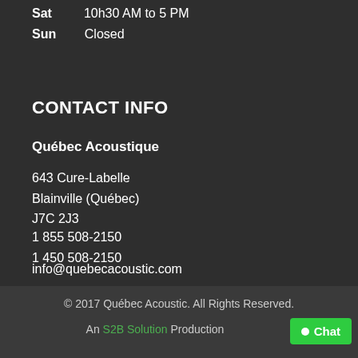Sat   10h30 AM to 5 PM
Sun   Closed
CONTACT INFO
Québec Acoustique
643 Cure-Labelle
Blainville (Québec)
J7C 2J3
1 855 508-2150
1 450 508-2150
info@quebecacoustic.com
© 2017 Québec Acoustic. All Rights Reserved.
An S2B Solution Production